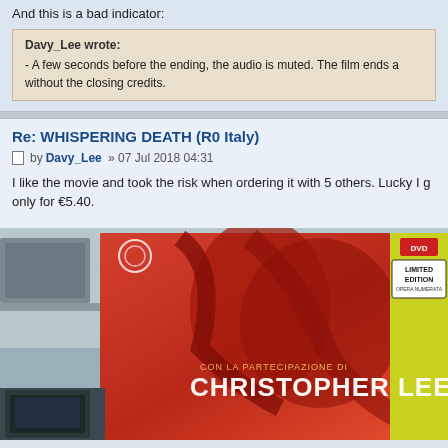And this is a bad indicator:
Davy_Lee wrote:
- A few seconds before the ending, the audio is muted. The film ends ab without the closing credits.
Re: WHISPERING DEATH (R0 Italy)
by Davy_Lee » 07 Jul 2018 04:31
I like the movie and took the risk when ordering it with 5 others. Lucky I g only for €5.40.
[Figure (photo): DVD cover photo of Whispering Death Italian release featuring Christopher Lee, showing the dvd case with 'CON LA PARTECIPAZIONE DI CHRISTOPHER LEE' text and a LIMITED EDITION label in the top right corner.]